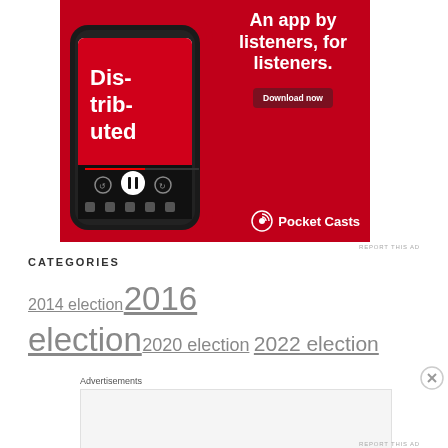[Figure (advertisement): Pocket Casts app advertisement on red background featuring a smartphone displaying the 'Distributed' podcast. Text reads 'An app by listeners, for listeners.' with a 'Download now' button and Pocket Casts logo.]
REPORT THIS AD
CATEGORIES
2014 election 2016 election 2020 election 2022 election
Advertisements
REPORT THIS AD